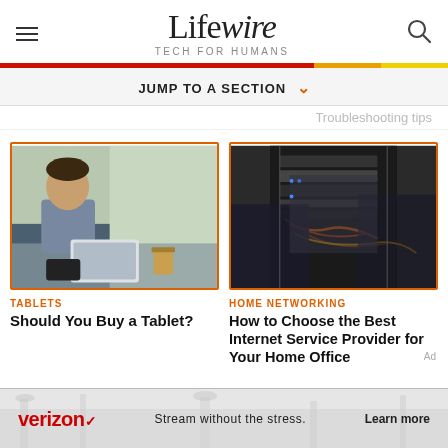Lifewire TECH FOR HUMANS
JUMP TO A SECTION
Troubleshooting tips
[Figure (photo): Man sitting at a table on a train using a tablet, with a coffee cup nearby]
TABLETS
Should You Buy a Tablet?
[Figure (photo): Close-up of network equipment being handled by a person, with cables and server hardware visible]
HOME NETWORKING
How to Choose the Best Internet Service Provider for Your Home Office
[Figure (photo): Verizon advertisement banner: Stream without the stress. Learn more]